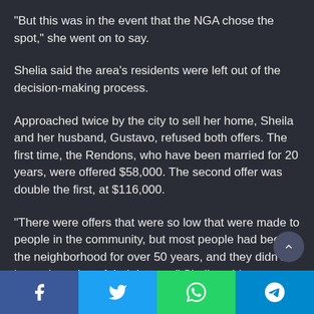“But this was in the event that the NGA chose the spot,” she went on to say.
Shelia said the area’s residents were left out of the decision-making process.
Approached twice by the city to sell her home, Sheila and her husband, Gustavo, refused both offers. The first time, the Rendons, who have been married for 20 years, were offered $58,000. The second offer was double the first, at $116,000.
“There were offers that were so low that were made to people in the community, but most people had been in the neighborhood for over 50 years, and they didn’t know the value of their homes,” Sheila said.
Share buttons: Facebook, Twitter, WhatsApp, Telegram